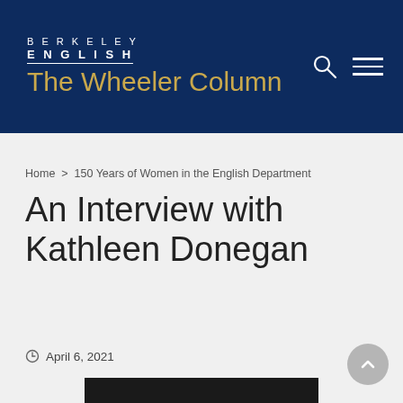BERKELEY ENGLISH The Wheeler Column
Home > 150 Years of Women in the English Department
An Interview with Kathleen Donegan
April 6, 2021
[Figure (photo): Partial photo visible at the bottom of the page, dark toned portrait image]